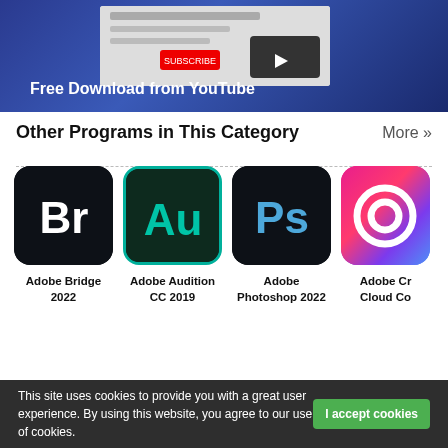[Figure (screenshot): Banner with blue/purple gradient background showing a YouTube downloader interface screenshot on the right, with text 'Free Download from YouTube' in bold white at bottom left.]
Other Programs in This Category
More »
[Figure (logo): Adobe Bridge 2022 app icon - dark navy background with white 'Br' letters]
Adobe Bridge 2022
[Figure (logo): Adobe Audition CC 2019 app icon - dark green background with teal 'Au' letters, teal border]
Adobe Audition CC 2019
[Figure (logo): Adobe Photoshop 2022 app icon - dark navy background with blue 'Ps' letters]
Adobe Photoshop 2022
[Figure (logo): Adobe Creative Cloud app icon - colorful gradient with Creative Cloud logo]
Adobe Creative Cloud Co
This site uses cookies to provide you with a great user experience. By using this website, you agree to our use of cookies.
I accept cookies